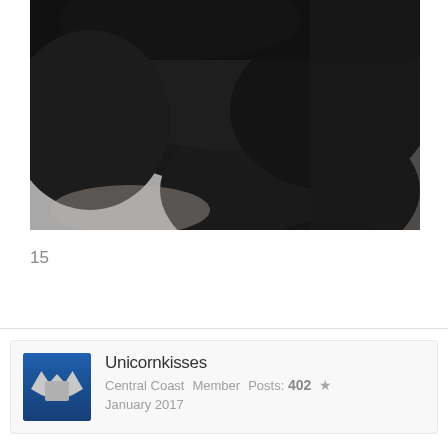[Figure (photo): Close-up photograph of a black cat resting its head, with dark glossy fur. The cat appears to be lying on or near a person wearing a grey shirt, with a small white ear tag or collar tag visible.]
15
Unicornkisses
Central Coast  Member  Posts: 402  ★
January 2017